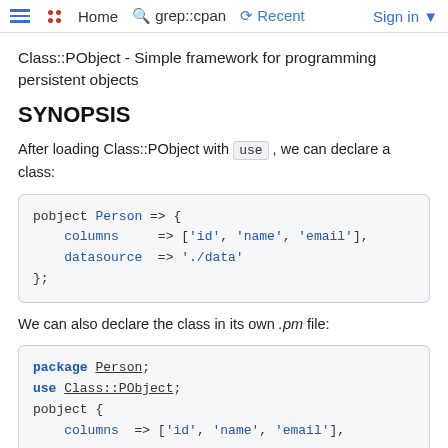Home  grep::cpan  Recent  Sign in
Class::PObject - Simple framework for programming persistent objects
SYNOPSIS
After loading Class::PObject with use , we can declare a class:
pobject Person => {
    columns      => ['id', 'name', 'email'],
    datasource   => './data'
};
We can also declare the class in its own .pm file:
package Person;
use Class::PObject;
pobject {
    columns  => ['id', 'name', 'email'],